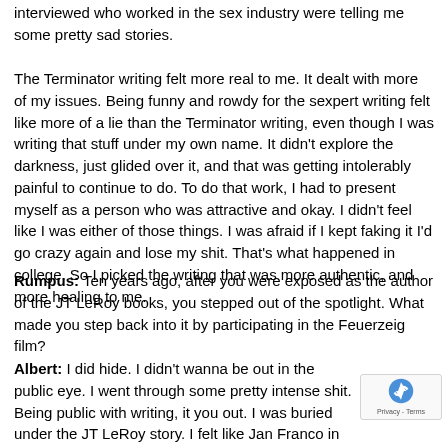interviewed who worked in the sex industry were telling me some pretty sad stories.
The Terminator writing felt more real to me. It dealt with more of my issues. Being funny and rowdy for the sexpert writing felt like more of a lie than the Terminator writing, even though I was writing that stuff under my own name. It didn't explore the darkness, just glided over it, and that was getting intolerably painful to continue to do. To do that work, I had to present myself as a person who was attractive and okay. I didn't feel like I was either of those things. I was afraid if I kept faking it I'd go crazy again and lose my shit. That's what happened in college. So I picked the writing that was more authentic, and more healing to me.
Rumpus: Ten years ago, after you were exposed as the author of the JT LeRoy books, you stepped out of the spotlight. What made you step back into it by participating in the Feuerzeig film?
Albert: I did hide. I didn't wanna be out in the public eye. I went through some pretty intense shit. Being public with writing, it you out. I was buried under the JT LeRoy story. I felt like Jan Franco in that movie 127 Hours, and I didn't have it in me to my own arm.